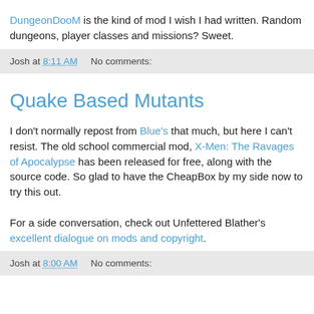DungeonDooM is the kind of mod I wish I had written. Random dungeons, player classes and missions? Sweet.
Josh at 8:11 AM    No comments:
Quake Based Mutants
I don't normally repost from Blue's that much, but here I can't resist. The old school commercial mod, X-Men: The Ravages of Apocalypse has been released for free, along with the source code. So glad to have the CheapBox by my side now to try this out.
For a side conversation, check out Unfettered Blather's excellent dialogue on mods and copyright.
Josh at 8:00 AM    No comments: